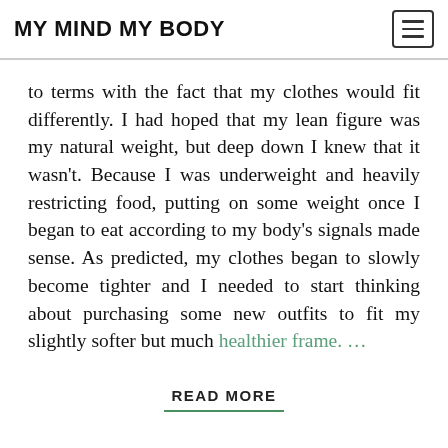MY MIND MY BODY
to terms with the fact that my clothes would fit differently. I had hoped that my lean figure was my natural weight, but deep down I knew that it wasn't. Because I was underweight and heavily restricting food, putting on some weight once I began to eat according to my body's signals made sense. As predicted, my clothes began to slowly become tighter and I needed to start thinking about purchasing some new outfits to fit my slightly softer but much healthier frame. …
READ MORE